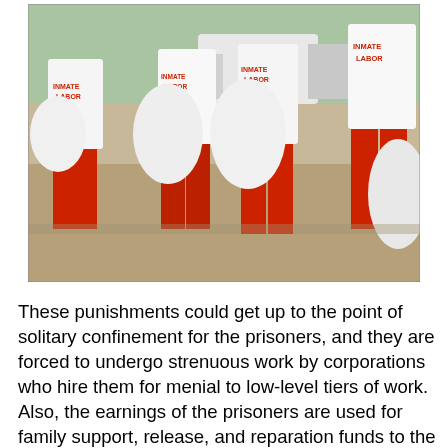[Figure (photo): Outdoor photograph of inmates wearing white t-shirts labeled 'INMATE LABOR' in red text and red trousers, carrying large white bags on a sandy/dusty outdoor area. Multiple inmates visible from behind and sides, with vehicles in background.]
These punishments could get up to the point of solitary confinement for the prisoners, and they are forced to undergo strenuous work by corporations who hire them for menial to low-level tiers of work. Also, the earnings of the prisoners are used for family support, release, and reparation funds to the families of those who were